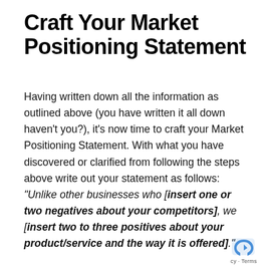Craft Your Market Positioning Statement
Having written down all the information as outlined above (you have written it all down haven't you?), it's now time to craft your Market Positioning Statement. With what you have discovered or clarified from following the steps above write out your statement as follows: “Unlike other businesses who [insert one or two negatives about your competitors], we [insert two to three positives about your product/service and the way it is offered].”
[Figure (logo): reCAPTCHA logo icon (blue stylized arrow/shield) with text 'cy - Terms' below]